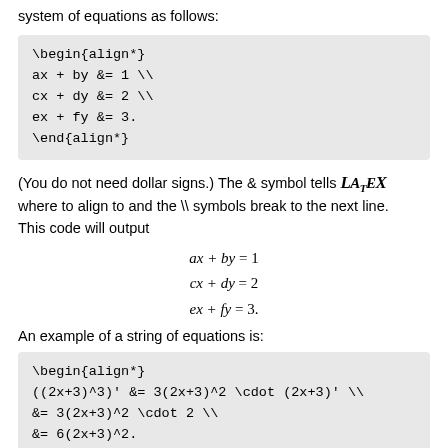system of equations as follows:
(You do not need dollar signs.) The & symbol tells LATEX where to align to and the \\ symbols break to the next line. This code will output
An example of a string of equations is: